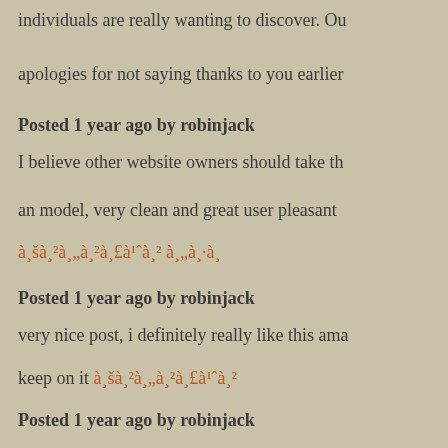individuals are really wanting to discover. Ou
apologies for not saying thanks to you earlier
Posted 1 year ago by robinjack
I believe other website owners should take th
an model, very clean and great user pleasant
à¸šà¸²à¸„à¸²à¸£à¹ˆà¸² à¸„à¸·à¸
Posted 1 year ago by robinjack
very nice post, i definitely really like this ama
keep on it à¸šà¸²à¸„à¸²à¸£à¹ˆà¸²
Posted 1 year ago by robinjack
Hi, do you have a facebook fan page for your
buy steroids online
Posted 1 year ago by robinjack